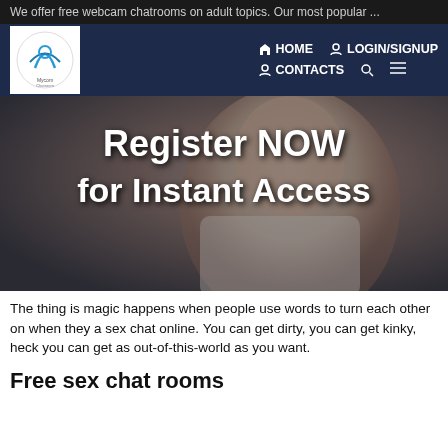We offer free webcam chatrooms on adult topics. Our most popular ...
[Figure (screenshot): Website navigation bar with logo and menu items: HOME, LOGIN/SIGNUP, CONTACTS, search and hamburger icons]
[Figure (photo): Hero image of a woman with text overlay 'Register NOW for Instant Access']
The thing is magic happens when people use words to turn each other on when they a sex chat online. You can get dirty, you can get kinky, heck you can get as out-of-this-world as you want.
Free sex chat rooms